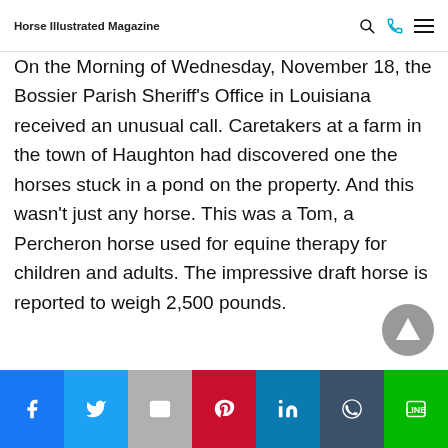Horse Illustrated Magazine
On the Morning of Wednesday, November 18, the Bossier Parish Sheriff’s Office in Louisiana received an unusual call. Caretakers at a farm in the town of Haughton had discovered one the horses stuck in a pond on the property. And this wasn’t just any horse. This was a Tom, a Percheron horse used for equine therapy for children and adults. The impressive draft horse is reported to weigh 2,500 pounds.